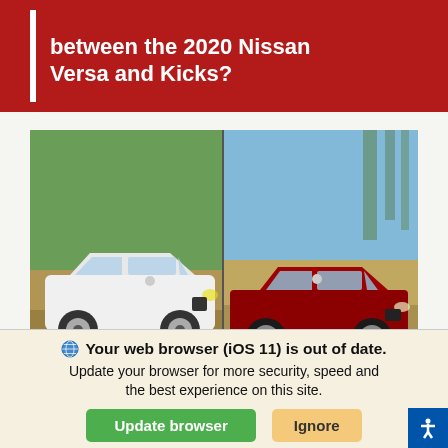between the 2020 Nissan Versa and Kicks?
[Figure (photo): Side-by-side photos of a white 2020 Nissan Kicks (left) and a red 2020 Nissan Versa (right)]
Are you in the market for an affordable, capable and tech-savvy entry-level vehicle? The 2020 Nissan Versa and 2020 Nissan Kicks are two vehicles that come with advanced technology, capable performance and athletic designs. Are
Your web browser (iOS 11) is out of date. Update your browser for more security, speed and the best experience on this site.